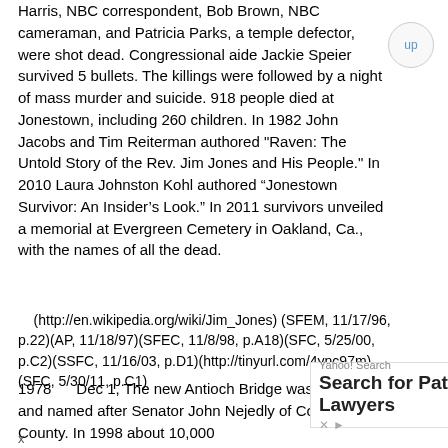Harris, NBC correspondent, Bob Brown, NBC cameraman, and Patricia Parks, a temple defector, were shot dead. Congressional aide Jackie Speier survived 5 bullets. The killings were followed by a night of mass murder and suicide. 918 people died at Jonestown, including 260 children. In 1982 John Jacobs and Tim Reiterman authored "Raven: The Untold Story of the Rev. Jim Jones and His People." In 2010 Laura Johnston Kohl authored “Jonestown Survivor: An Insider’s Look.” In 2011 survivors unveiled a memorial at Evergreen Cemetery in Oakland, Ca., with the names of all the dead.
(http://en.wikipedia.org/wiki/Jim_Jones) (SFEM, 11/17/96, p.22)(AP, 11/18/97)(SFEC, 11/8/98, p.A18)(SFC, 5/25/00, p.C2)(SSFC, 11/16/03, p.D1)(http://tinyurl.com/4ync97m) (SFC, 5/30/11, p.C1)
1978      Dec 1, The new Antioch Bridge was dedicated and named after Senator John Nejedly of Contra Costa County. In 1998 about 10,000
[Figure (other): Yahoo Search advertisement banner: 'Search for Patent Lawyers' with blue OPEN button]